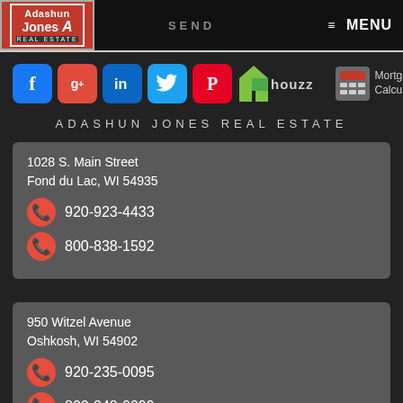[Figure (logo): Adashun Jones Real Estate logo - red background with white text and border]
SEND
≡ MENU
[Figure (infographic): Social media icons row: Facebook, Google+, LinkedIn, Twitter, Pinterest, Houzz, and Mortgage Calculator]
ADASHUN JONES REAL ESTATE
1028 S. Main Street
Fond du Lac, WI 54935
920-923-4433
800-838-1592
950 Witzel Avenue
Oshkosh, WI 54902
920-235-0095
800-248-0099